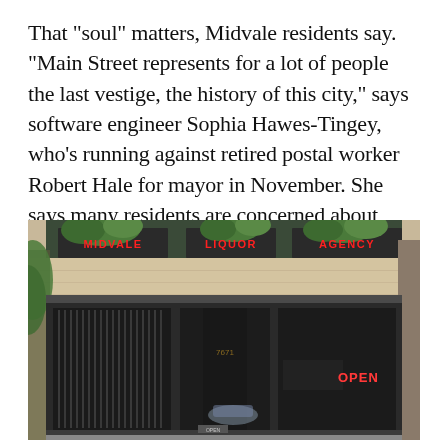That "soul" matters, Midvale residents say. "Main Street represents for a lot of people the last vestige, the history of this city," says software engineer Sophia Hawes-Tingey, who's running against retired postal worker Robert Hale for mayor in November. She says many residents are concerned about "losing the past, losing something that graphically symbolizes the core value of Midvale."
[Figure (photo): Exterior photo of Midvale Liquor Agency storefront, a single-story brick building with large windows, neon signs reading MIDVALE, LIQUOR, AGENCY in red, vertical blinds behind lower windows, and an OPEN neon sign visible on the right side.]